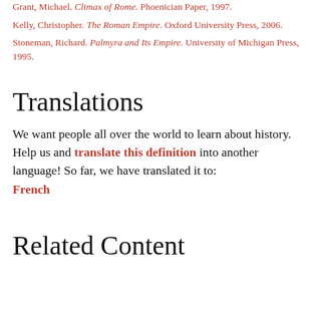Grant, Michael. Climax of Rome. Phoenician Paper, 1997.
Kelly, Christopher. The Roman Empire. Oxford University Press, 2006.
Stoneman, Richard. Palmyra and Its Empire. University of Michigan Press, 1995.
Translations
We want people all over the world to learn about history. Help us and translate this definition into another language! So far, we have translated it to: French
Related Content